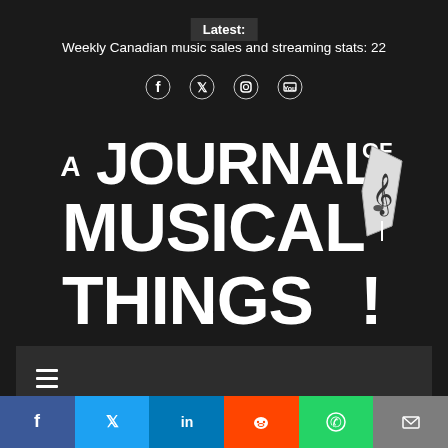Latest:
Weekly Canadian music sales and streaming stats: 22
[Figure (logo): Social media icons: Facebook, Twitter, Instagram, YouTube]
A JOURNAL OF MUSICAL THINGS
[Figure (illustration): Hamburger menu icon (three horizontal lines) on dark navigation bar]
[Figure (screenshot): Partial article preview with large grey letters visible at bottom, small orange triangle icon]
[Figure (infographic): Social share bar with Facebook (blue), Twitter (light blue), LinkedIn (dark blue), Reddit (orange), WhatsApp (green), Email (grey) buttons]